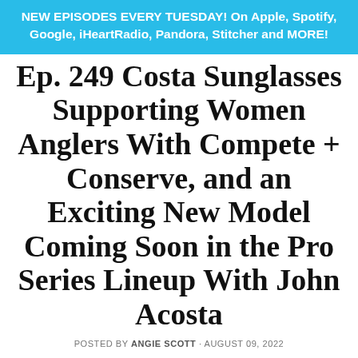NEW EPISODES EVERY TUESDAY! On Apple, Spotify, Google, iHeartRadio, Pandora, Stitcher and MORE!
Ep. 249 Costa Sunglasses Supporting Women Anglers With Compete + Conserve, and an Exciting New Model Coming Soon in the Pro Series Lineup With John Acosta
POSTED BY ANGIE SCOTT · AUGUST 09, 2022